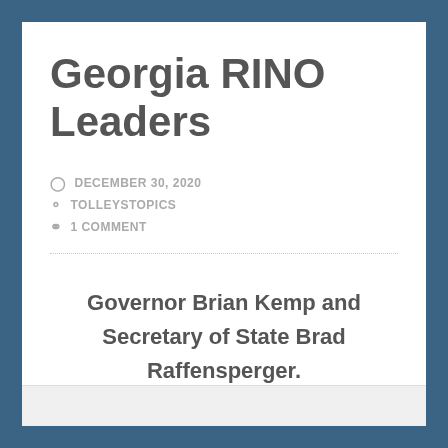Georgia RINO Leaders
DECEMBER 30, 2020
TOLLEYSTOPICS
1 COMMENT
Governor Brian Kemp and Secretary of State Brad Raffensperger.